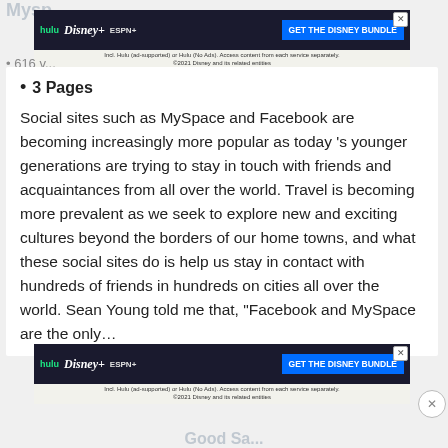[Figure (screenshot): Disney Bundle advertisement banner at top showing Hulu, Disney+, ESPN+ logos with 'GET THE DISNEY BUNDLE' call-to-action button on dark navy background, with fine print below]
3 Pages
Social sites such as MySpace and Facebook are becoming increasingly more popular as today 's younger generations are trying to stay in touch with friends and acquaintances from all over the world. Travel is becoming more prevalent as we seek to explore new and exciting cultures beyond the borders of our home towns, and what these social sites do is help us stay in contact with hundreds of friends in hundreds on cities all over the world. Sean Young told me that, "Facebook and MySpace are the only…
[Figure (screenshot): Disney Bundle advertisement banner at bottom showing Hulu, Disney+, ESPN+ logos with 'GET THE DISNEY BUNDLE' call-to-action button on dark navy background, with fine print below]